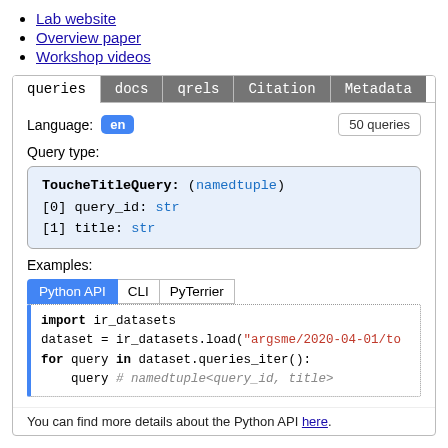Lab website
Overview paper
Workshop videos
[Figure (screenshot): Tab panel with tabs: queries (active), docs, qrels, Citation, Metadata. Contains Language: en badge, 50 queries count, Query type label with ToucheTitleQuery namedtuple code box showing [0] query_id: str and [1] title: str. Examples section with Python API / CLI / PyTerrier buttons and a Python code block showing import ir_datasets, dataset = ir_datasets.load(...), for query in dataset.queries_iter(): query # namedtuple<query_id, title>. Footer: You can find more details about the Python API here.]